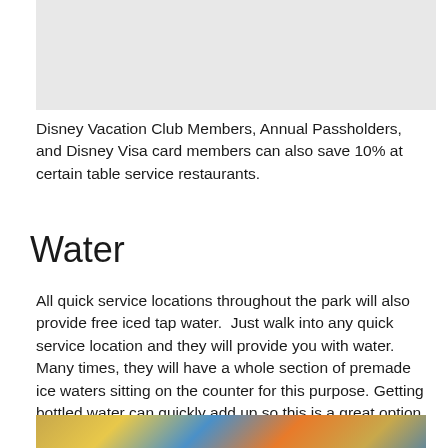[Figure (photo): Top partial image, appears cropped at top of page]
Disney Vacation Club Members, Annual Passholders, and Disney Visa card members can also save 10% at certain table service restaurants.
Water
All quick service locations throughout the park will also provide free iced tap water.  Just walk into any quick service location and they will provide you with water. Many times, they will have a whole section of premade ice waters sitting on the counter for this purpose. Getting bottled water can quickly add up so this is a great option for those hot summer months.
[Figure (photo): Partial bottom image showing colorful striped pattern in blue, yellow, and orange tones]